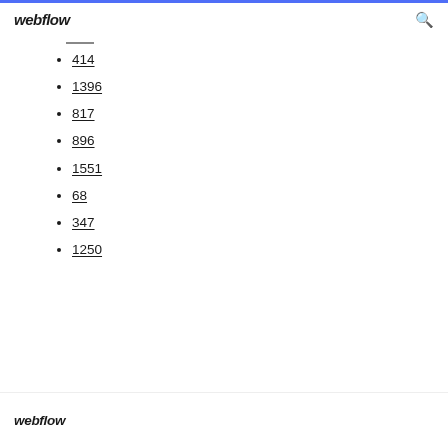webflow
414
1396
817
896
1551
68
347
1250
webflow